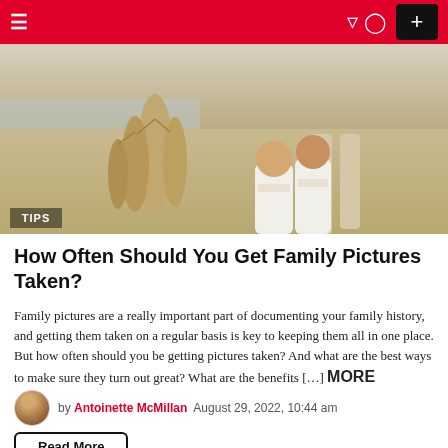≡   ) (user icon)   +
[Figure (photo): Beach scene with a family posed next to a large sandcastle. Two children in white shirts with an adult, sandy beach and ocean in background. TIPS badge overlay bottom left.]
How Often Should You Get Family Pictures Taken?
Family pictures are a really important part of documenting your family history, and getting them taken on a regular basis is key to keeping them all in one place. But how often should you be getting pictures taken? And what are the best ways to make sure they turn out great? What are the benefits […] MORE
by Antoinette McMillan   August 29, 2022, 10:44 am
Read More